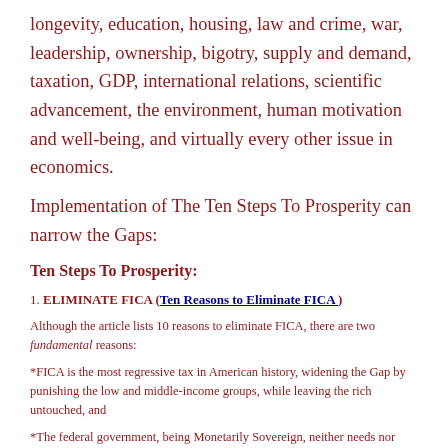longevity, education, housing, law and crime, war, leadership, ownership, bigotry, supply and demand, taxation, GDP, international relations, scientific advancement, the environment, human motivation and well-being, and virtually every other issue in economics.
Implementation of The Ten Steps To Prosperity can narrow the Gaps:
Ten Steps To Prosperity:
1. ELIMINATE FICA (Ten Reasons to Eliminate FICA )
Although the article lists 10 reasons to eliminate FICA, there are two fundamental reasons:
*FICA is the most regressive tax in American history, widening the Gap by punishing the low and middle-income groups, while leaving the rich untouched, and
*The federal government, being Monetarily Sovereign, neither needs nor uses FICA to support